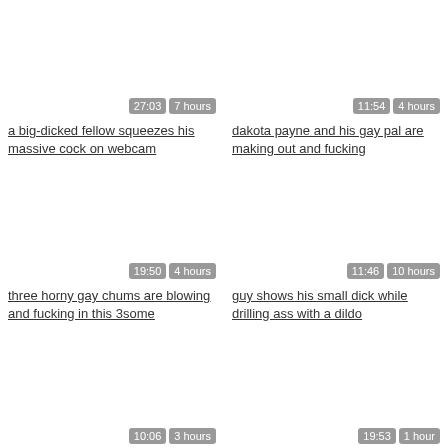[Figure (screenshot): Video thumbnail placeholder top-left with duration 27:03 and age 7 hours]
a big-dicked fellow squeezes his massive cock on webcam
[Figure (screenshot): Video thumbnail placeholder top-right with duration 11:54 and age 4 hours]
dakota payne and his gay pal are making out and fucking
[Figure (screenshot): Video thumbnail placeholder middle-left with duration 19:50 and age 4 hours]
three horny gay chums are blowing and fucking in this 3some
[Figure (screenshot): Video thumbnail placeholder middle-right with duration 11:46 and age 10 hours]
guy shows his small dick while drilling ass with a dildo
[Figure (screenshot): Video thumbnail placeholder bottom-left with duration 10:06 and age 3 hours]
two gat twinks are making out and
[Figure (screenshot): Video thumbnail placeholder bottom-right with duration 19:53 and age 1 hour]
inked man swallows cock and gets